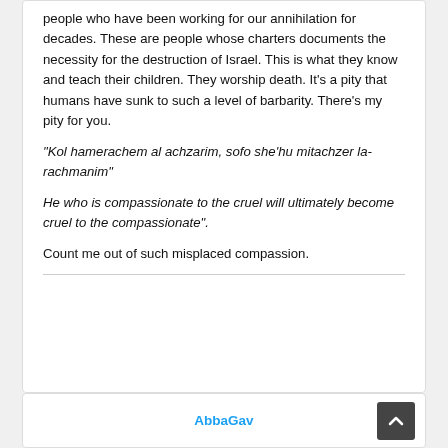people who have been working for our annihilation for decades. These are people whose charters documents the necessity for the destruction of Israel. This is what they know and teach their children. They worship death. It's a pity that humans have sunk to such a level of barbarity. There's my pity for you.
“Kol hamerachem al achzarim, sofo she’hu mitachzer la-rachmanim”
He who is compassionate to the cruel will ultimately become cruel to the compassionate”.
Count me out of such misplaced compassion.
AbbaGav